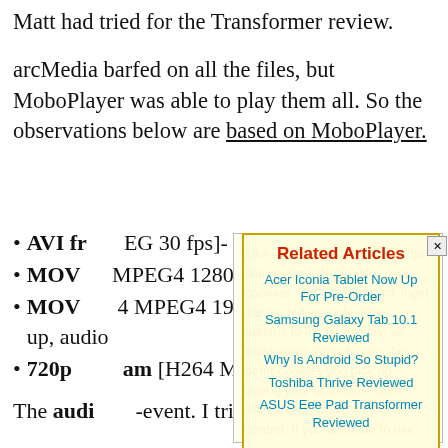Matt had tried for the Transformer review.
arcMedia barfed on all the files, but MoboPlayer was able to play them all. So the observations below are based on MoboPlayer.
AVI fr… MPEG 30 fps]- P… ot correct
MOV … MPEG4 1280x… able frame drops…
MOV … 4 MPEG4 1920x… fast motion… cked up, audio…
720p … am [H264 MPEG… fine, but video…
The audio … event. I tried both … and non-
[Figure (screenshot): Cookie consent popup overlay with yellow background reading: 'Like every other website on the planet, SmallNetBuilder uses cookies. Our cookies track login status, but we only allow admins to log in anyway, so those don't apply to you. Any other cookies you pick up during your visit come from advertisers, which we don't control. If you continue to use the site, you agree to tolerate our use of cookies. Thank you!' with a green 'I Agree' button.]
[Figure (screenshot): Related Articles overlay with red heading 'Related Articles' and links: 'Acer Iconia Tablet Now Up For Pre-Order', 'Samsung Galaxy Tab 10.1 Reviewed', 'Why Is Android So Stupid?', 'Toshiba Thrive Reviewed', 'ASUS Eee Pad Transformer Reviewed']